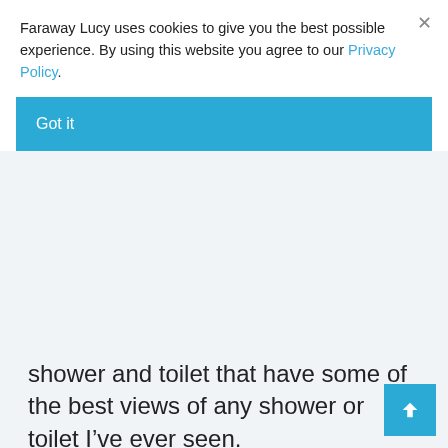Faraway Lucy uses cookies to give you the best possible experience. By using this website you agree to our Privacy Policy.
[Figure (screenshot): Blue 'Got it' button for cookie consent banner]
shower and toilet that have some of the best views of any shower or toilet I've ever seen.
Talk about getting intimate with nature!
What guests say: “If I could give this place 10 stars, I would. The treehouse is made of absolute magic! Every detail is beautifully thought out, and the hosts are incredibly